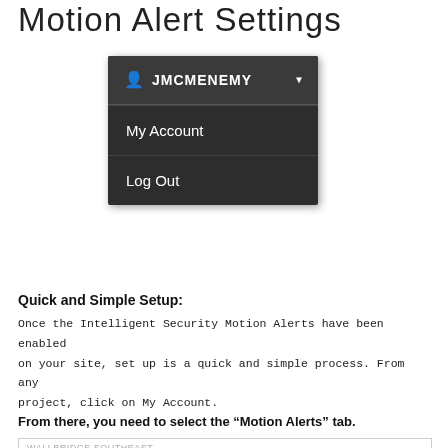Motion Alert Settings
[Figure (screenshot): Dropdown menu showing username JMCMENEMY with options My Account and Log Out]
Quick and Simple Setup:
Once the Intelligent Security Motion Alerts have been enabled on your site, set up is a quick and simple process. From any project, click on My Account.
From there, you need to select the “Motion Alerts” tab.
[Figure (screenshot): User Settings panel showing tab bar with Account Info, Email Subscriptions, Camera Alerts, Motion Alerts (active/highlighted in yellow), Link Cameras, and Integrations tabs under WALLBRIDGE SOUTHEAST project]